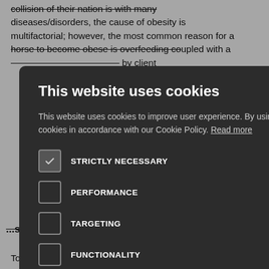diseases/disorders, the cause of obesity is multifactorial; however, the most common reason for a horse to become obese is overfeeding coupled with a ... by client ... rovide advice ... ammes. ... individual ... hey are
ny, how?
n small cerns human and otitis l products ded. This an be used py in order e.
...carosis
Toxocara species eggs are produced by adult worms in
[Figure (screenshot): Cookie consent modal dialog on a dark background overlay. Title: 'This website uses cookies'. Body text: 'This website uses cookies to improve user experience. By using our website you consent to all cookies in accordance with our Cookie Policy. Read more'. Checkboxes: STRICTLY NECESSARY (checked), PERFORMANCE (unchecked), TARGETING (unchecked), FUNCTIONALITY (unchecked). Two buttons: 'ACCEPT ALL' (green) and 'DECLINE ALL' (outlined). Show Details link with gear icon at bottom.]